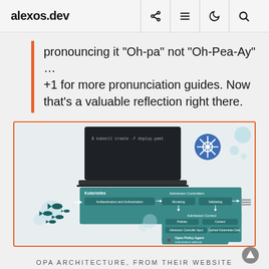alexos.dev
pronouncing it “Oh-pa” not “Oh-Pea-Ay” … +1 for more pronunciation guides. Now that’s a valuable reflection right there.
[Figure (screenshot): OPA (Open Policy Agent) Kubernetes architecture diagram showing API Server with Authentication and Authorization, Mutating, Validating, Admission Control, Policies, Context, Admission Controller Input, and Cached Kubernetes Data components, along with a kubectl command terminal and Kubernetes logo.]
OPA ARCHITECTURE, FROM THEIR WEBSITE